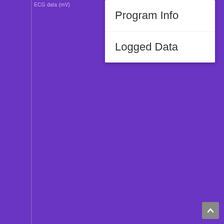ECG data (mV)
[Figure (screenshot): Dropdown menu on a purple mobile app background showing two menu options: 'Program Info' and 'Logged Data']
Program Info
Logged Data